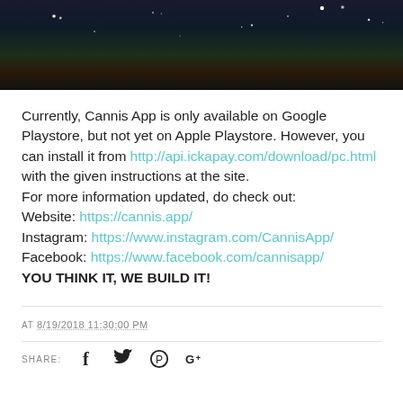[Figure (photo): Dark satellite/space image of Earth at night with city lights visible, framed by black side bars]
Currently, Cannis App is only available on Google Playstore, but not yet on Apple Playstore. However, you can install it from http://api.ickapay.com/download/pc.html with the given instructions at the site.
For more information updated, do check out:
Website: https://cannis.app/
Instagram: https://www.instagram.com/CannisApp/
Facebook: https://www.facebook.com/cannisapp/
YOU THINK IT, WE BUILD IT!
AT 8/19/2018 11:30:00 PM
SHARE: